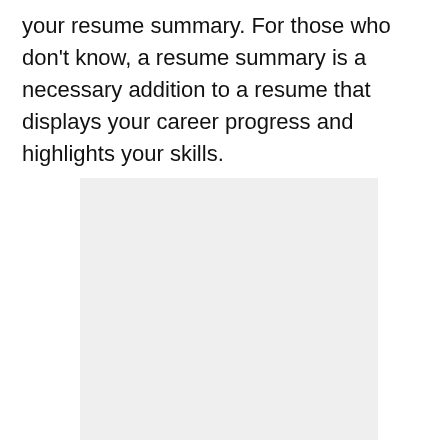your resume summary. For those who don't know, a resume summary is a necessary addition to a resume that displays your career progress and highlights your skills.
[Figure (other): A light gray rectangular placeholder image box]